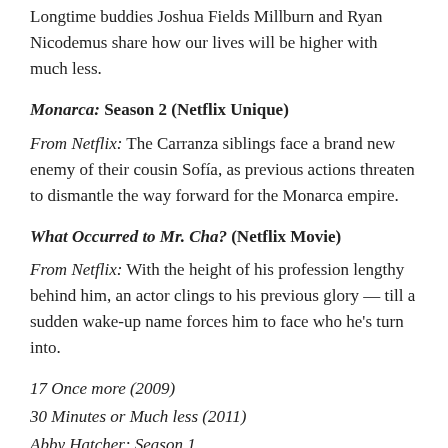Longtime buddies Joshua Fields Millburn and Ryan Nicodemus share how our lives will be higher with much less.
Monarca: Season 2 (Netflix Unique)
From Netflix: The Carranza siblings face a brand new enemy of their cousin Sofía, as previous actions threaten to dismantle the way forward for the Monarca empire.
What Occurred to Mr. Cha? (Netflix Movie)
From Netflix: With the height of his profession lengthy behind him, an actor clings to his previous glory — till a sudden wake-up name forces him to face who he's turn into.
17 Once more (2009)
30 Minutes or Much less (2011)
Abby Hatcher: Season 1
Blue Streak (1999)
Bonnie and Clyde (1967)